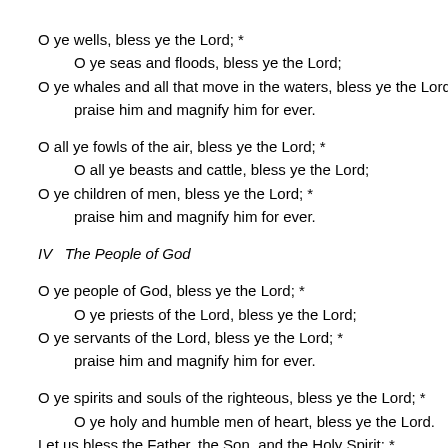O ye wells, bless ye the Lord; *
O ye seas and floods, bless ye the Lord;
O ye whales and all that move in the waters, bless ye the Lord; *
praise him and magnify him for ever.
O all ye fowls of the air, bless ye the Lord; *
O all ye beasts and cattle, bless ye the Lord;
O ye children of men, bless ye the Lord; *
praise him and magnify him for ever.
IV   The People of God
O ye people of God, bless ye the Lord; *
O ye priests of the Lord, bless ye the Lord;
O ye servants of the Lord, bless ye the Lord; *
praise him and magnify him for ever.
O ye spirits and souls of the righteous, bless ye the Lord; *
O ye holy and humble men of heart, bless ye the Lord.
Let us bless the Father, the Son, and the Holy Spirit; *